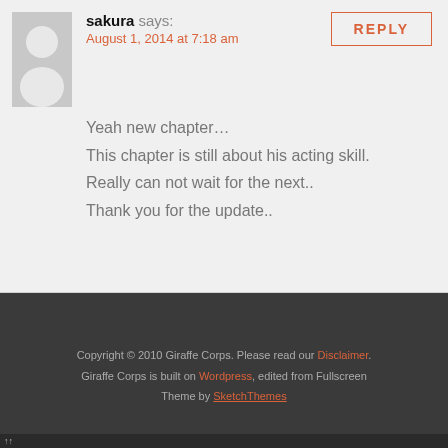sakura says:
August 1, 2014 at 7:18 am
REPLY
Yeah new chapter…
This chapter is still about his acting skill.
Really can not wait for the next..
Thank you for the update..
Copyright © 2010 Giraffe Corps. Please read our Disclaimer.
Giraffe Corps is built on Wordpress, edited from Fullscreen
Theme by SketchThemes